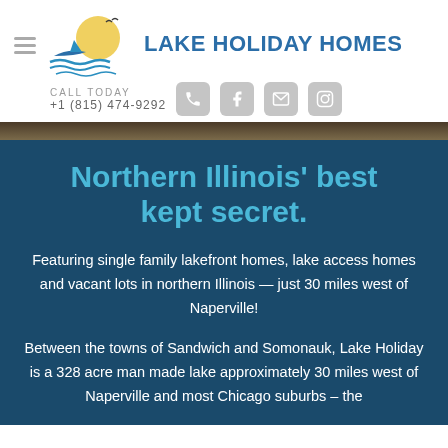LAKE HOLIDAY HOMES — CALL TODAY +1 (815) 474-9292
Northern Illinois' best kept secret.
Featuring single family lakefront homes, lake access homes and vacant lots in northern Illinois — just 30 miles west of Naperville!
Between the towns of Sandwich and Somonauk, Lake Holiday is a 328 acre man made lake approximately 30 miles west of Naperville and most Chicago suburbs – the